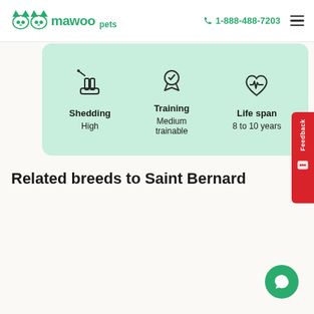Mawoo Pets | 1-888-488-7203
[Figure (infographic): Three dog breed info icons on a mint green card: Shedding (High), Training (Medium trainable), Life span (8 to 10 years)]
Related breeds to Saint Bernard